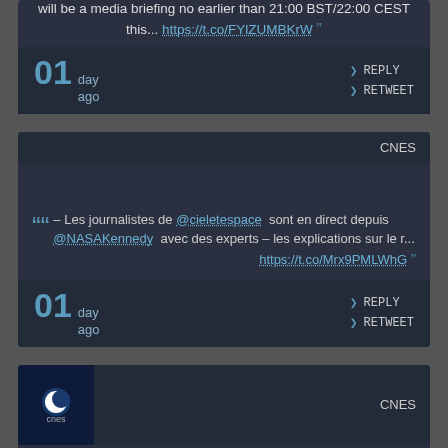will be a media briefing no earlier than 21:00 BST/22:00 CEST this... https://t.co/FYlZUMBKrW
01 day ago | REPLY | RETWEET
CNES
– Les journalistes de @cieletespace sont en direct depuis @NASAKennedy avec des experts – les explications sur le r... https://t.co/Mrx9PMLWhG
01 day ago | REPLY | RETWEET
[Figure (logo): CNES logo - white crescent moon shape above text 'cnes' on dark blue background]
CNES
Pas de lancement #Artemis1 = pas de live Twitch ce soir ! Une fuite au niveau du remplissage hydrogène empêche la t...